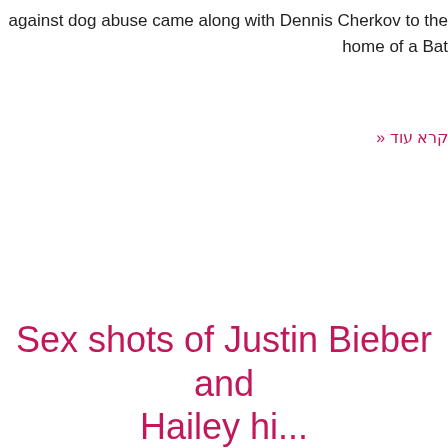against dog abuse came along with Dennis Cherkov to the home of a Bat
קרא עוד »
Sex shots of Justin Bieber and Hailey hi...